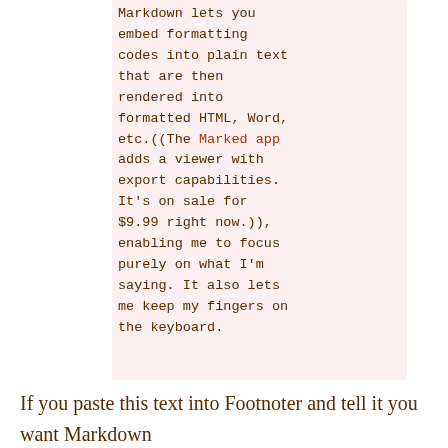Markdown lets you embed formatting codes into plain text that are then rendered into formatted HTML, Word, etc.((The Marked app adds a viewer with export capabilities. It's on sale for $9.99 right now.)), enabling me to focus purely on what I'm saying. It also lets me keep my fingers on the keyboard.
If you paste this text into Footnoter and tell it you want Markdown